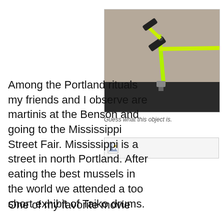[Figure (photo): A neon green angular desk lamp or tool arm mounted with a clamp on a dark surface, photographed against a beige/grey wall background.]
Guess what this object is.
[Figure (photo): Broken/missing image placeholder icon]
Among the Portland rituals my friends and I observe are martinis at the Benson and going to the Mississippi Street Fair. Mississippi is a street in north Portland. After eating the best mussels in the world we attended a too short exhibit of Taiko drums.
One of my favorite movie